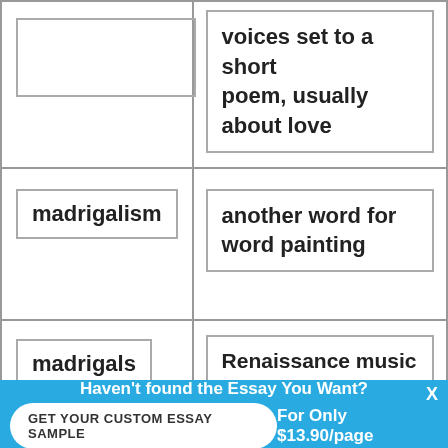| Term | Definition |
| --- | --- |
|  | voices set to a short poem, usually about love |
| madrigalism | another word for word painting |
| madrigals | Renaissance music that combined homophonic and polyphonic textures. More unusual harmonies than motets
Began in Italy; spread to England |
Haven't found the Essay You Want?
GET YOUR CUSTOM ESSAY SAMPLE
For Only $13.90/page